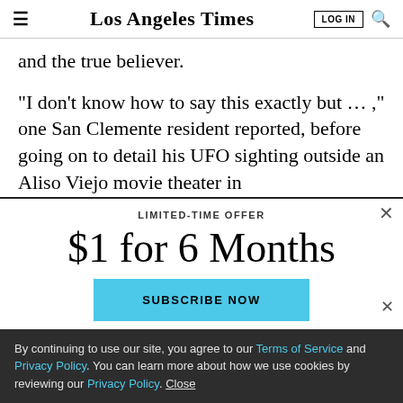Los Angeles Times | LOG IN | Search
and the true believer.
“I don’t know how to say this exactly but ... ,” one San Clemente resident reported, before going on to detail his UFO sighting outside an Aliso Viejo movie theater in
LIMITED-TIME OFFER
$1 for 6 Months
SUBSCRIBE NOW
By continuing to use our site, you agree to our Terms of Service and Privacy Policy. You can learn more about how we use cookies by reviewing our Privacy Policy. Close